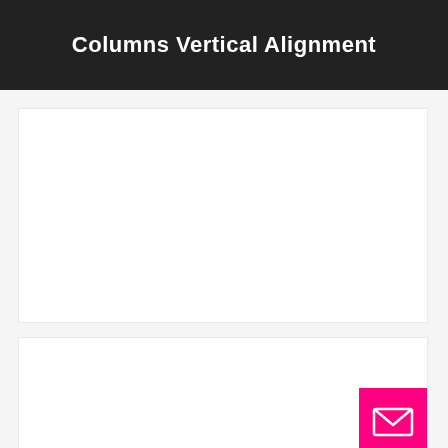Columns Vertical Alignment
[Figure (other): Large white rectangular box on light gray background]
[Figure (other): White rectangular box on light gray background with a pink/magenta square button in the bottom-right corner containing a white envelope/mail icon]